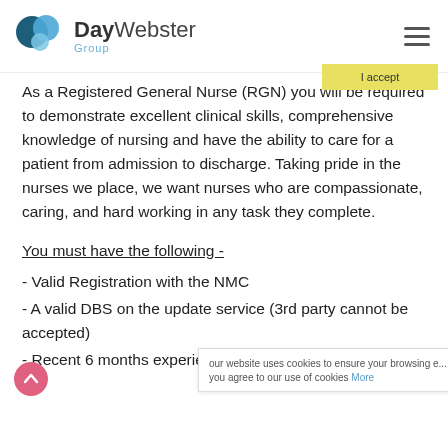DayWebster Group
As a Registered General Nurse (RGN) you will be required to demonstrate excellent clinical skills, comprehensive knowledge of nursing and have the ability to care for a patient from admission to discharge. Taking pride in the nurses we place, we want nurses who are compassionate, caring, and hard working in any task they complete.
You must have the following -
- Valid Registration with the NMC
- A valid DBS on the update service (3rd party cannot be accepted)
- Recent 6 months experience within an NHS setting